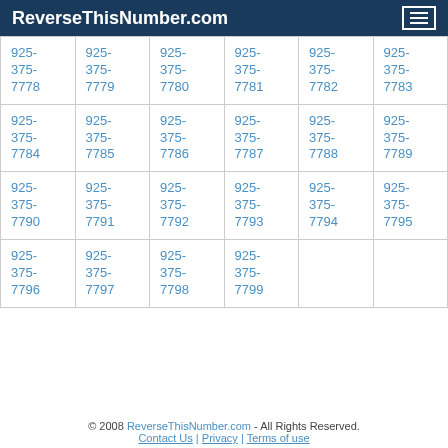ReverseThisNumber.com
| 925-375-7778 | 925-375-7779 | 925-375-7780 | 925-375-7781 | 925-375-7782 | 925-375-7783 |
| 925-375-7784 | 925-375-7785 | 925-375-7786 | 925-375-7787 | 925-375-7788 | 925-375-7789 |
| 925-375-7790 | 925-375-7791 | 925-375-7792 | 925-375-7793 | 925-375-7794 | 925-375-7795 |
| 925-375-7796 | 925-375-7797 | 925-375-7798 | 925-375-7799 |  |  |
© 2008 ReverseThisNumber.com - All Rights Reserved. Contact Us | Privacy | Terms of use